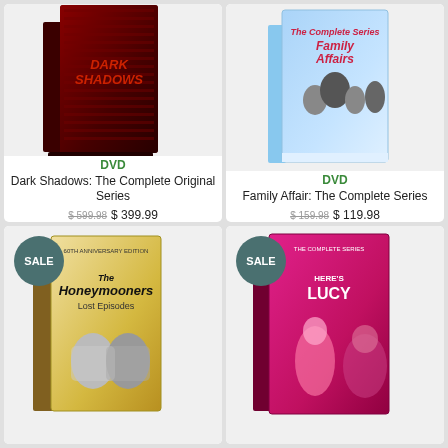[Figure (photo): Dark Shadows: The Complete Original Series DVD box set - dark red coffin-shaped box]
DVD
Dark Shadows: The Complete Original Series
$ 599.98 $ 399.99
[Figure (photo): Family Affair: The Complete Series DVD box set - light blue box]
DVD
Family Affair: The Complete Series
$ 159.98 $ 119.98
[Figure (photo): The Honeymooners Lost Episodes 60th Anniversary Edition DVD box set with SALE badge]
[Figure (photo): Here's Lucy: The Complete Series DVD box set - pink/magenta box with SALE badge]